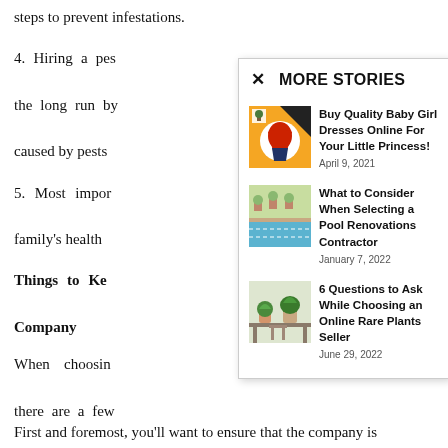steps to prevent infestations.
4. Hiring a pest control company can save you money in the long run by preventing costly damage and repairs caused by pests.
5. Most importantly, pest control can protect your family's health.
Things to Keep in Mind While Choosing a Pest Control Company
When choosing a pest control company, there are a few
[Figure (screenshot): MORE STORIES modal overlay with three story items: 1) Buy Quality Baby Girl Dresses Online For Your Little Princess! (April 9, 2021), 2) What to Consider When Selecting a Pool Renovations Contractor (January 7, 2022), 3) 6 Questions to Ask While Choosing an Online Rare Plants Seller (June 29, 2022)]
First and foremost, you'll want to ensure that the company is